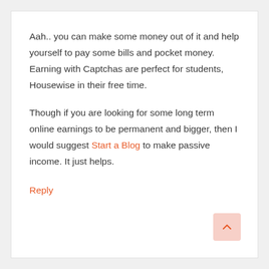Aah.. you can make some money out of it and help yourself to pay some bills and pocket money. Earning with Captchas are perfect for students, Housewise in their free time.
Though if you are looking for some long term online earnings to be permanent and bigger, then I would suggest Start a Blog to make passive income. It just helps.
Reply